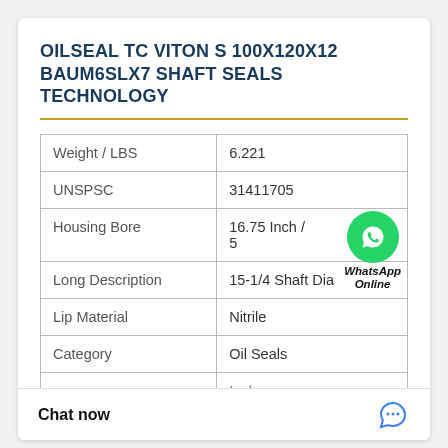OILSEAL TC VITON S 100X120X12 BAUM6SLX7 SHAFT SEALS TECHNOLOGY
| Weight / LBS | 6.221 |
| UNSPSC | 31411705 |
| Housing Bore | 16.75 Inch / [obscured] 5 |
| Long Description | 15-1/4 Shaft Dia |
| Lip Material | Nitrile |
| Category | Oil Seals |
| [partially visible] | Inch |
| [partially visible] | eal |
Chat now